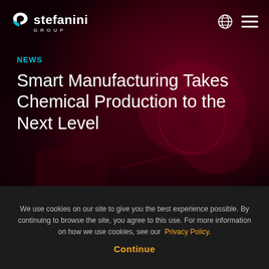[Figure (photo): Dark red-tinted background photo of industrial/chemical manufacturing equipment, used as a hero banner image]
stefanini GROUP
NEWS
Smart Manufacturing Takes Chemical Production to the Next Level
We use cookies on our site to give you the best experience possible. By continuing to browse the site, you agree to this use. For more information on how we use cookies, see our Privacy Policy.

Continue